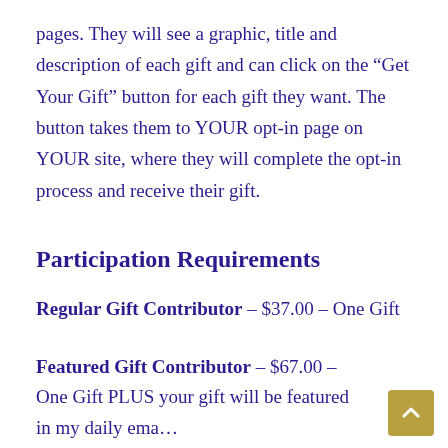pages. They will see a graphic, title and description of each gift and can click on the “Get Your Gift” button for each gift they want. The button takes them to YOUR opt-in page on YOUR site, where they will complete the opt-in process and receive their gift.
Participation Requirements
Regular Gift Contributor – $37.00 – One Gift
Featured Gift Contributor – $67.00 – One Gift PLUS your gift will be featured in my daily ema… $67.00 (Limited to a Maximum of 22 spots)